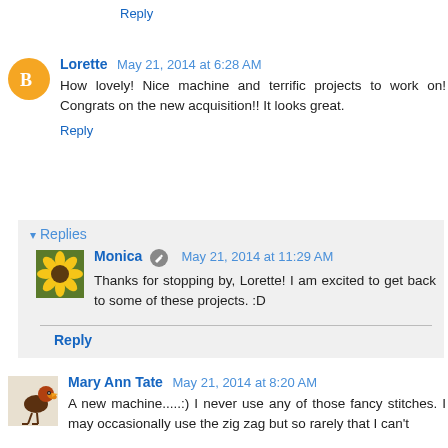Reply
Lorette  May 21, 2014 at 6:28 AM
How lovely! Nice machine and terrific projects to work on! Congrats on the new acquisition!! It looks great.
Reply
Replies
Monica  May 21, 2014 at 11:29 AM
Thanks for stopping by, Lorette! I am excited to get back to some of these projects. :D
Reply
Mary Ann Tate  May 21, 2014 at 8:20 AM
A new machine.....:) I never use any of those fancy stitches. I may occasionally use the zig zag but so rarely that I can't